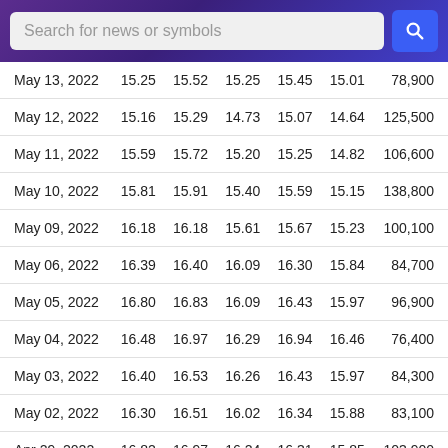[Figure (screenshot): Search bar with purple/blue gradient background and blue search button with magnifying glass icon]
| Date | Open | High | Low | Close | Adj Close | Volume |
| --- | --- | --- | --- | --- | --- | --- |
| May 13, 2022 | 15.25 | 15.52 | 15.25 | 15.45 | 15.01 | 78,900 |
| May 12, 2022 | 15.16 | 15.29 | 14.73 | 15.07 | 14.64 | 125,500 |
| May 11, 2022 | 15.59 | 15.72 | 15.20 | 15.25 | 14.82 | 106,600 |
| May 10, 2022 | 15.81 | 15.91 | 15.40 | 15.59 | 15.15 | 138,800 |
| May 09, 2022 | 16.18 | 16.18 | 15.61 | 15.67 | 15.23 | 100,100 |
| May 06, 2022 | 16.39 | 16.40 | 16.09 | 16.30 | 15.84 | 84,700 |
| May 05, 2022 | 16.80 | 16.83 | 16.09 | 16.43 | 15.97 | 96,900 |
| May 04, 2022 | 16.48 | 16.97 | 16.29 | 16.94 | 16.46 | 76,400 |
| May 03, 2022 | 16.40 | 16.53 | 16.26 | 16.43 | 15.97 | 84,300 |
| May 02, 2022 | 16.30 | 16.51 | 16.02 | 16.34 | 15.88 | 83,100 |
| Apr 29, 2022 | 16.82 | 16.97 | 16.24 | 16.31 | 15.85 | 103,900 |